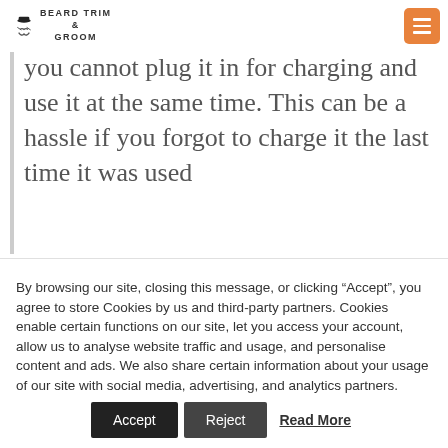BEARD TRIM & GROOM
you cannot plug it in for charging and use it at the same time. This can be a hassle if you forgot to charge it the last time it was used
By browsing our site, closing this message, or clicking “Accept”, you agree to store Cookies by us and third-party partners. Cookies enable certain functions on our site, let you access your account, allow us to analyse website traffic and usage, and personalise content and ads. We also share certain information about your usage of our site with social media, advertising, and analytics partners.
Accept   Reject   Read More